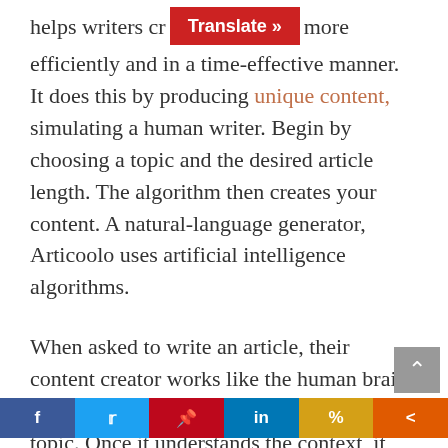helps writers create content more efficiently and in a time-effective manner. It does this by producing unique content, simulating a human writer. Begin by choosing a topic and the desired article length. The algorithm then creates your content. A natural-language generator, Articoolo uses artificial intelligence algorithms.
When asked to write an article, their content creator works like the human brain. It begins by analyzing the context of your topic. Once it understands the context, it works to find the best resources and keywords. The goal of the software is to
[Figure (other): Scroll-to-top arrow button (gray square with upward chevron)]
[Figure (other): Social media sharing bar with Facebook, Twitter, Pinterest, LinkedIn, percent/bookmark, and share icons]